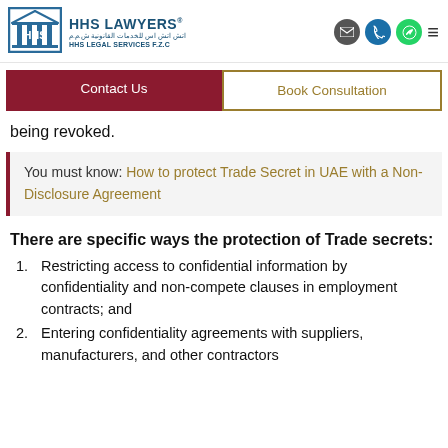HHS LAWYERS | HHS LEGAL SERVICES F.Z.C
being revoked.
You must know: How to protect Trade Secret in UAE with a Non-Disclosure Agreement
There are specific ways the protection of Trade secrets:
Restricting access to confidential information by confidentiality and non-compete clauses in employment contracts; and
Entering confidentiality agreements with suppliers, manufacturers, and other contractors